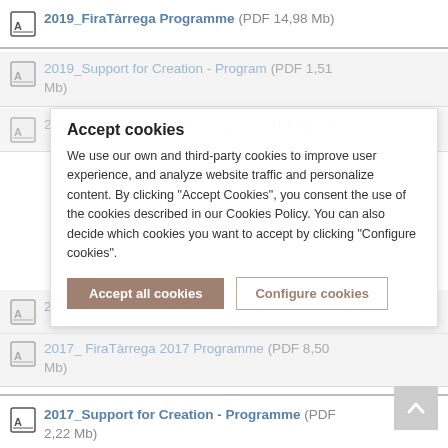2019_FiraTàrrega Programme (PDF 14,98 Mb)
2019_Support for Creation - Program (PDF 1,51 Mb)
2018_FiraTàrrega 2018 Programme (PDF 12,74...)
...cookies list item overlapped
Accept cookies
We use our own and third-party cookies to improve user experience, and analyze website traffic and personalize content. By clicking "Accept Cookies", you consent the use of the cookies described in our Cookies Policy. You can also decide which cookies you want to accept by clicking "Configure cookies".
2017_All-in Pro. Professional guide (PDF 3,91 Mb)
2017_ FiraTàrrega 2017 Programme (PDF 8,50 Mb)
2017_Support for Creation - Programme (PDF 2,22 Mb)